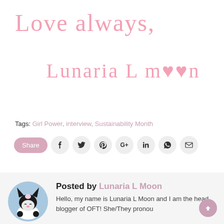Love always,
Lunaria L moon
Tags: Girl Power, interview, Sustainability Month
[Figure (infographic): Social share buttons row: Share button (pink rounded), followed by circular icon buttons for Facebook, Twitter, Pinterest, Google+, LinkedIn, WhatsApp, and Email]
[Figure (photo): Circular avatar showing Kuromi (Sanrio character) with black hood/ears and pink nose, lying down with light blue background]
Posted by Lunaria L Moon
Hello, my name is Lunaria L Moon and I am the head blogger of OFT! She/They pronou